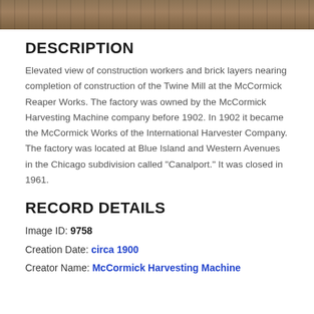[Figure (photo): Sepia-toned historical photograph strip showing an elevated view of construction workers and brick layers at the McCormick Reaper Works Twine Mill construction site.]
DESCRIPTION
Elevated view of construction workers and brick layers nearing completion of construction of the Twine Mill at the McCormick Reaper Works. The factory was owned by the McCormick Harvesting Machine company before 1902. In 1902 it became the McCormick Works of the International Harvester Company. The factory was located at Blue Island and Western Avenues in the Chicago subdivision called "Canalport." It was closed in 1961.
RECORD DETAILS
Image ID: 9758
Creation Date: circa 1900
Creator Name: McCormick Harvesting Machine Co.